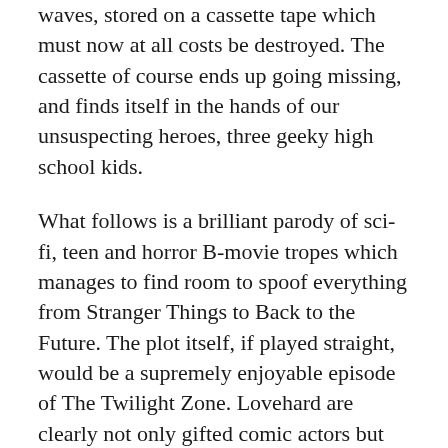waves, stored on a cassette tape which must now at all costs be destroyed. The cassette of course ends up going missing, and finds itself in the hands of our unsuspecting heroes, three geeky high school kids.
What follows is a brilliant parody of sci-fi, teen and horror B-movie tropes which manages to find room to spoof everything from Stranger Things to Back to the Future. The plot itself, if played straight, would be a supremely enjoyable episode of The Twilight Zone. Lovehard are clearly not only gifted comic actors but also scholars of the material with a real love of the genre sending up the cliches of teen movies such as proms, yard sales and bullying jocks to winning effect. They also find